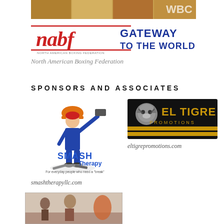[Figure (logo): NABF North American Boxing Federation logo with 'GATEWAY TO THE WORLD' text]
North American Boxing Federation
SPONSORS AND ASSOCIATES
[Figure (logo): Smash Therapy logo with cartoon woman holding sledgehammer, text 'Smash Therapy For everyday people who need a break']
[Figure (logo): El Tigre Promotions logo with tiger on black background and gold text]
eltigrepromotions.com
smashtherapyllc.com
[Figure (photo): Bottom photo showing a boxing-related scene with people]